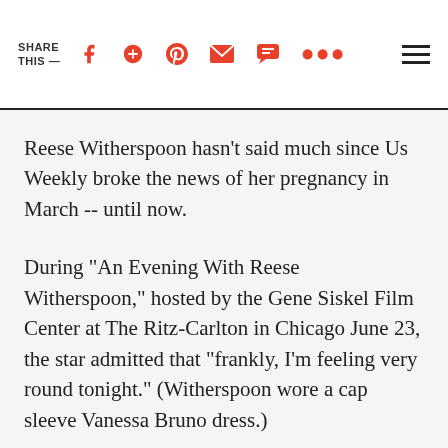SHARE THIS —
Reese Witherspoon hasn't said much since Us Weekly broke the news of her pregnancy in March -- until now.
During "An Evening With Reese Witherspoon," hosted by the Gene Siskel Film Center at The Ritz-Carlton in Chicago June 23, the star admitted that "frankly, I'm feeling very round tonight." (Witherspoon wore a cap sleeve Vanessa Bruno dress.)